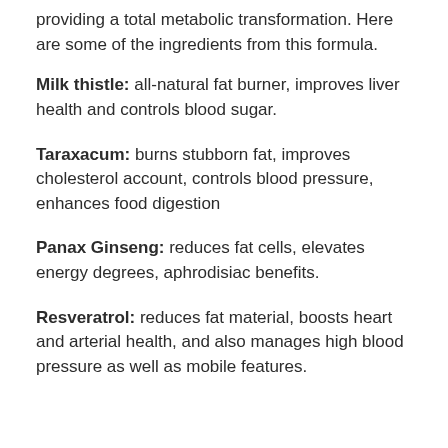providing a total metabolic transformation. Here are some of the ingredients from this formula.
Milk thistle: all-natural fat burner, improves liver health and controls blood sugar.
Taraxacum: burns stubborn fat, improves cholesterol account, controls blood pressure, enhances food digestion
Panax Ginseng: reduces fat cells, elevates energy degrees, aphrodisiac benefits.
Resveratrol: reduces fat material, boosts heart and arterial health, and also manages high blood pressure as well as mobile features.